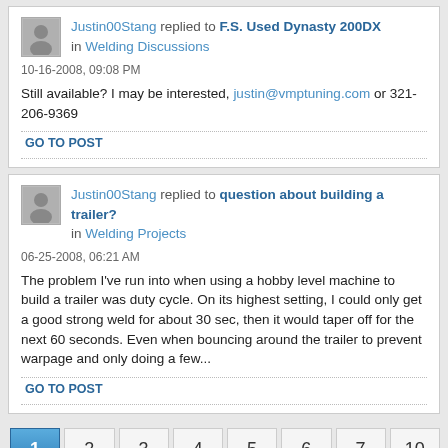Justin00Stang replied to F.S. Used Dynasty 200DX in Welding Discussions
10-16-2008, 09:08 PM
Still available? I may be interested, justin@vmptuning.com or 321-206-9369
GO TO POST
Justin00Stang replied to question about building a trailer? in Welding Projects
06-25-2008, 06:21 AM
The problem I've run into when using a hobby level machine to build a trailer was duty cycle. On its highest setting, I could only get a good strong weld for about 30 sec, then it would taper off for the next 60 seconds. Even when bouncing around the trailer to prevent warpage and only doing a few...
GO TO POST
1 2 3 4 5 6 7 10
Next